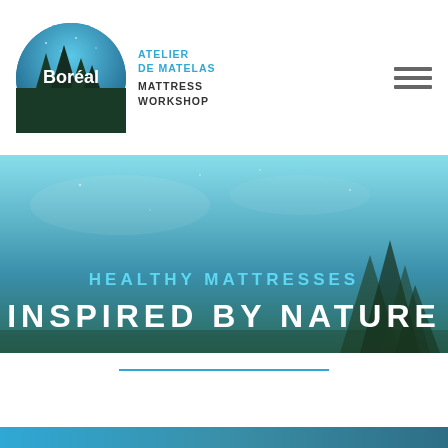Boréal Atelier de Matelas Mattress Workshop
[Figure (photo): Hero banner with teal/blue gradient sky background and tree silhouettes, overlaid with text: HEALTHY MATTRESSES / INSPIRED BY NATURE]
INSPIRED BY NATURE
HEALTHY MATTRESSES